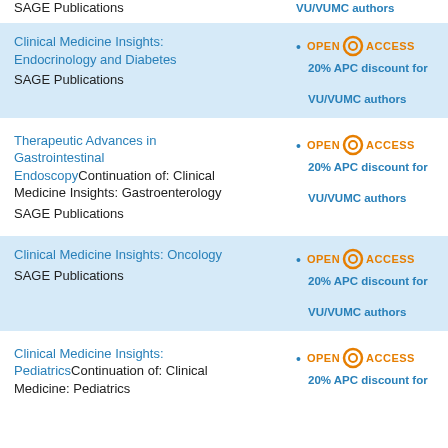SAGE Publications | VU/VUMC authors
Clinical Medicine Insights: Endocrinology and Diabetes
SAGE Publications
OPEN ACCESS
20% APC discount for VU/VUMC authors
Therapeutic Advances in Gastrointestinal EndoscopyContinuation of: Clinical Medicine Insights: Gastroenterology
SAGE Publications
OPEN ACCESS
20% APC discount for VU/VUMC authors
Clinical Medicine Insights: Oncology
SAGE Publications
OPEN ACCESS
20% APC discount for VU/VUMC authors
Clinical Medicine Insights: PediatricsContinuation of: Clinical Medicine: Pediatrics
OPEN ACCESS
20% APC discount for